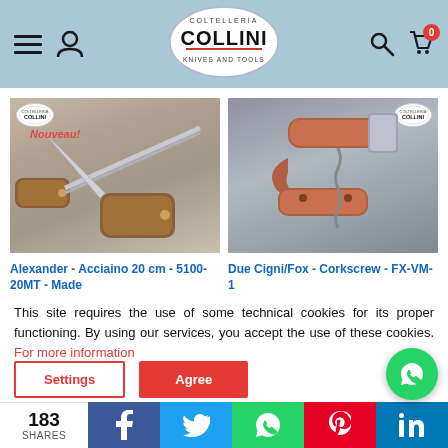[Figure (screenshot): Coltelleria Collini website header with logo, hamburger menu, user icon, search icon, cart icon with badge showing 0]
[Figure (photo): Alexander - Acciaino 20 cm product photo showing a knife sharpening steel with wooden handle]
[Figure (photo): Due Cigni/Fox - Corkscrew - FX-VM-1 product photo showing a copper/red corkscrew tool]
Alexander - Acciaino 20 cm - 5100-20MT - Made
Due Cigni/Fox - Corkscrew - FX-VM-1
This site requires the use of some technical cookies for its proper functioning. By using our services, you accept the use of these cookies. For more information
[Figure (screenshot): Cookie settings and agree buttons, WhatsApp contact button, and social sharing bar with 183 shares, Facebook, Twitter, WhatsApp, Pinterest, LinkedIn]